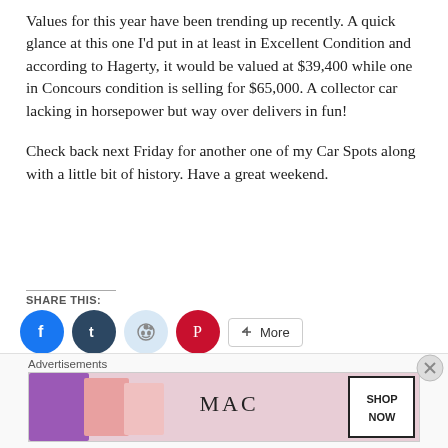Values for this year have been trending up recently. A quick glance at this one I'd put in at least in Excellent Condition and according to Hagerty, it would be valued at $39,400 while one in Concours condition is selling for $65,000. A collector car lacking in horsepower but way over delivers in fun!
Check back next Friday for another one of my Car Spots along with a little bit of history. Have a great weekend.
SHARE THIS:
[Figure (infographic): Social share buttons: Facebook (blue circle), Tumblr (dark teal circle), Reddit (light blue circle), Pinterest (red circle), and a More button]
[Figure (infographic): Like button with star icon, and two blogger avatar thumbnails]
2 bloggers like this
Advertisements
[Figure (infographic): MAC cosmetics advertisement banner showing lipsticks with MAC logo and SHOP NOW button]